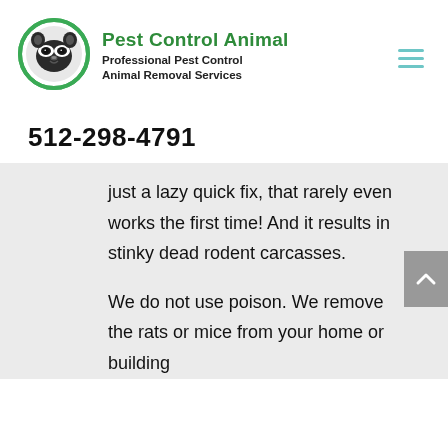[Figure (logo): Pest Control Animal logo: circular green-bordered icon with a raccoon face illustration]
Pest Control Animal
Professional Pest Control Animal Removal Services
512-298-4791
just a lazy quick fix, that rarely even works the first time! And it results in stinky dead rodent carcasses.
We do not use poison. We remove the rats or mice from your home or building